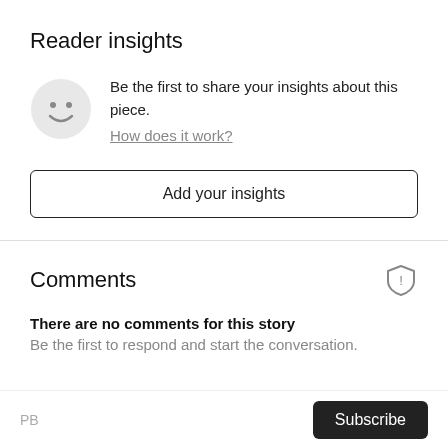Reader insights
Be the first to share your insights about this piece.
How does it work?
Add your insights
Comments
There are no comments for this story
Be the first to respond and start the conversation.
PB  Subscribe